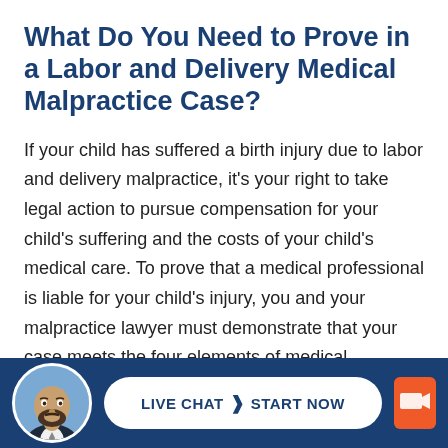What Do You Need to Prove in a Labor and Delivery Medical Malpractice Case?
If your child has suffered a birth injury due to labor and delivery malpractice, it's your right to take legal action to pursue compensation for your child's suffering and the costs of your child's medical care. To prove that a medical professional is liable for your child's injury, you and your malpractice lawyer must demonstrate that your case meets the four elements of medical malpractice:
[Figure (infographic): Footer bar with dark navy background containing a circular avatar photo of a bearded man in a suit, a white pill-shaped button with 'LIVE CHAT > START NOW' text, and an orange rectangular icon on the right.]